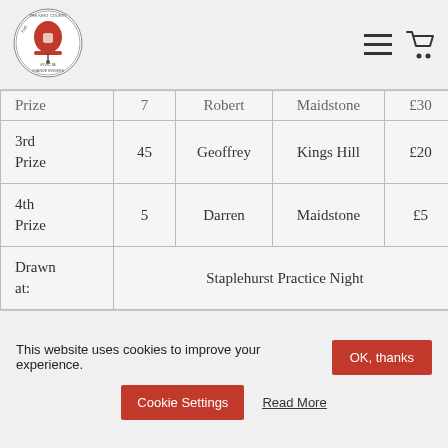[Figure (logo): The Kent County Association of Change Ringers circular logo with red bell and INVICTA text]
| Prize | Ticket | Name | Tower | Amount |
| --- | --- | --- | --- | --- |
| Prize | 7 | Robert | Maidstone | £30 |
| 3rd Prize | 45 | Geoffrey | Kings Hill | £20 |
| 4th Prize | 5 | Darren | Maidstone | £5 |
| Drawn at: | Staplehurst Practice Night |  |  |  |
This website uses cookies to improve your experience.
OK, thanks
Cookie Settings
Read More